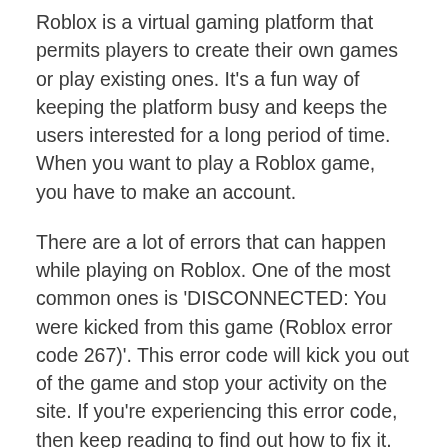Roblox is a virtual gaming platform that permits players to create their own games or play existing ones. It's a fun way of keeping the platform busy and keeps the users interested for a long period of time. When you want to play a Roblox game, you have to make an account.
There are a lot of errors that can happen while playing on Roblox. One of the most common ones is 'DISCONNECTED: You were kicked from this game (Roblox error code 267)'. This error code will kick you out of the game and stop your activity on the site. If you're experiencing this error code, then keep reading to find out how to fix it.